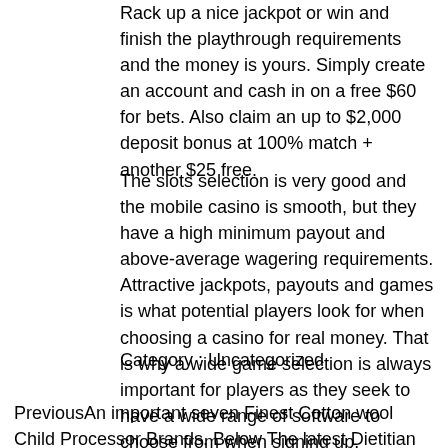Rack up a nice jackpot or win and finish the playthrough requirements and the money is yours. Simply create an account and cash in on a free $60 for bets. Also claim an up to $2,000 deposit bonus at 100% match + another $25 free.
The slots selection is very good and the mobile casino is smooth, but they have a high minimum payout and above-average wagering requirements. Attractive jackpots, payouts and games is what potential players look for when choosing a casino for real money. That is why a wide game selection is always important for players as they seek to have a wide range of software to choose from when signing up.
Category : Uncategorized
PreviousAn important seven Finest Cotton wool Child Processor Brands. Below The latest Dietitian